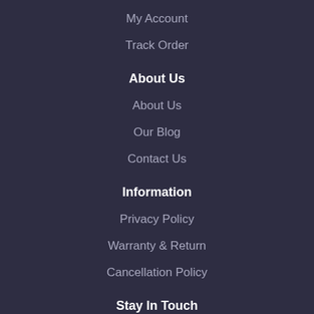My Account
Track Order
About Us
About Us
Our Blog
Contact Us
Information
Privacy Policy
Warranty & Return
Cancellation Policy
Stay In Touch
Subscribe to our newsletter and we'll keep you up to date on our products and services